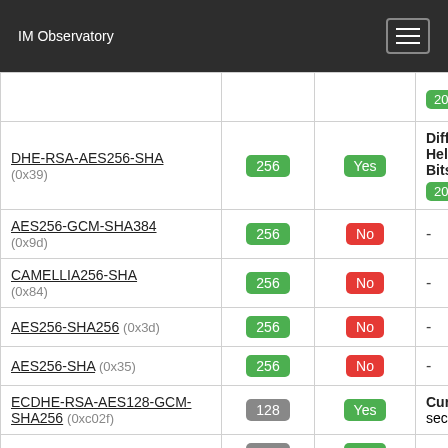IM Observatory
| Cipher | Bits | PFS | Note |
| --- | --- | --- | --- |
| (previous row partial) |  |  | 2048 |
| DHE-RSA-AES256-SHA (0x39) | 256 | Yes | Diffie-Hellman: Bitsize: 2048 |
| AES256-GCM-SHA384 (0x9d) | 256 | No | - |
| CAMELLIA256-SHA (0x84) | 256 | No | - |
| AES256-SHA256 (0x3d) | 256 | No | - |
| AES256-SHA (0x35) | 256 | No | - |
| ECDHE-RSA-AES128-GCM-SHA256 (0xc02f) | 128 | Yes | Curve: secp521r1 |
| ECDHE-RSA-AES128- (partial) | 128 | Yes | Curve: |